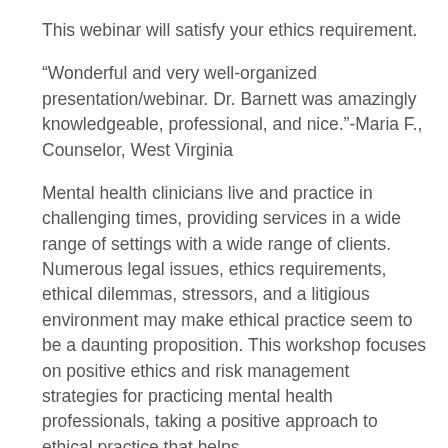This webinar will satisfy your ethics requirement.
“Wonderful and very well-organized presentation/webinar. Dr. Barnett was amazingly knowledgeable, professional, and nice.”-Maria F., Counselor, West Virginia
Mental health clinicians live and practice in challenging times, providing services in a wide range of settings with a wide range of clients. Numerous legal issues, ethics requirements, ethical dilemmas, stressors, and a litigious environment may make ethical practice seem to be a daunting proposition. This workshop focuses on positive ethics and risk management strategies for practicing mental health professionals, taking a positive approach to ethical practice that helps